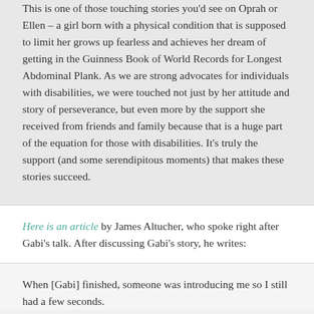This is one of those touching stories you'd see on Oprah or Ellen – a girl born with a physical condition that is supposed to limit her grows up fearless and achieves her dream of getting in the Guinness Book of World Records for Longest Abdominal Plank. As we are strong advocates for individuals with disabilities, we were touched not just by her attitude and story of perseverance, but even more by the support she received from friends and family because that is a huge part of the equation for those with disabilities. It's truly the support (and some serendipitous moments) that makes these stories succeed.
Here is an article by James Altucher, who spoke right after Gabi's talk. After discussing Gabi's story, he writes:
When [Gabi] finished, someone was introducing me so I still had a few seconds.